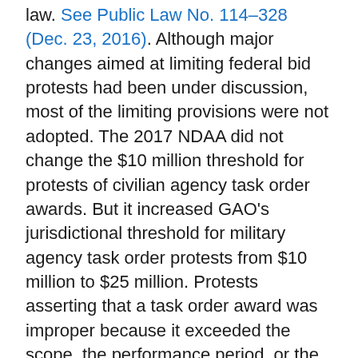law. See Public Law No. 114-328 (Dec. 23, 2016). Although major changes aimed at limiting federal bid protests had been under discussion, most of the limiting provisions were not adopted. The 2017 NDAA did not change the $10 million threshold for protests of civilian agency task order awards. But it increased GAO's jurisdictional threshold for military agency task order protests from $10 million to $25 million. Protests asserting that a task order award was improper because it exceeded the scope, the performance period, or the maximum value of the underlying contract can be filed without regard to the threshold.
HP gets caught in a jurisdictional trap
Like...